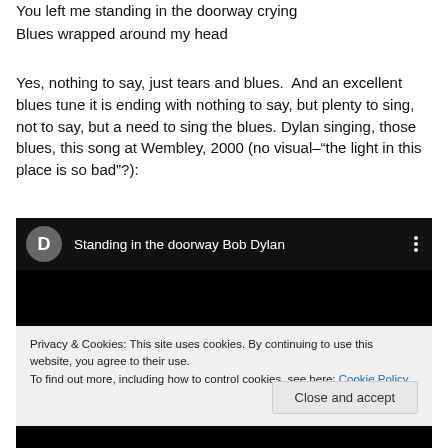You left me standing in the doorway crying
Blues wrapped around my head
Yes, nothing to say, just tears and blues.  And an excellent blues tune it is ending with nothing to say, but plenty to sing, not to say, but a need to sing the blues. Dylan singing, those blues, this song at Wembley, 2000 (no visual–“the light in this place is so bad”?):
[Figure (screenshot): YouTube video embed showing 'Standing in the doorway Bob Dylan' with a dark background, a gray avatar with letter D, and a vertical three-dot menu icon.]
Privacy & Cookies: This site uses cookies. By continuing to use this website, you agree to their use.
To find out more, including how to control cookies, see here: Cookie Policy
Close and accept